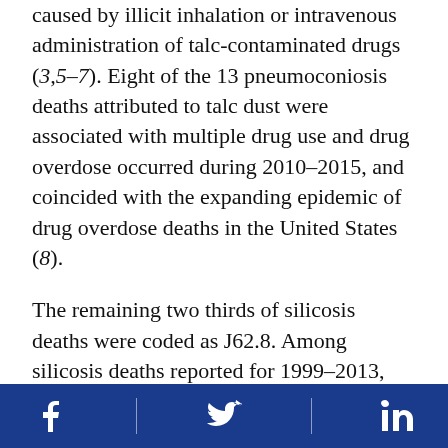caused by illicit inhalation or intravenous administration of talc-contaminated drugs (3,5–7). Eight of the 13 pneumoconiosis deaths attributed to talc dust were associated with multiple drug use and drug overdose occurred during 2010–2015, and coincided with the expanding epidemic of drug overdose deaths in the United States (8).
The remaining two thirds of silicosis deaths were coded as J62.8. Among silicosis deaths reported for 1999–2013, manufacturing or construction industries, both of which are known to be associated with exposures to silica-containing dust, were frequently listed on death certificates for these decedents. Three decedents had a history of subcutaneous silicone injections and likely were erroneously assigned code J62.8 as the underlying cause of death
[Facebook icon] [Twitter icon] [LinkedIn icon]